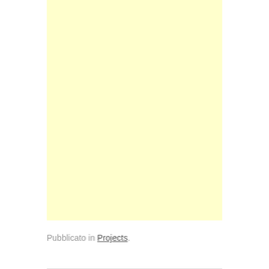[Figure (other): Large light yellow rectangular area filling most of the upper portion of the page]
Pubblicato in Projects.